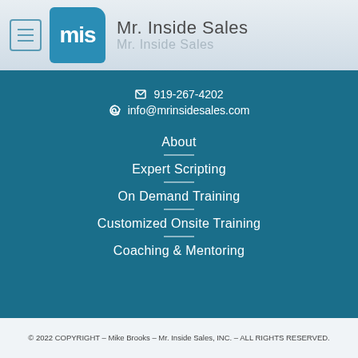Mr. Inside Sales
919-267-4202
info@mrinsidesales.com
About
Expert Scripting
On Demand Training
Customized Onsite Training
Coaching & Mentoring
© 2022 COPYRIGHT - Mike Brooks - Mr. Inside Sales, INC. - ALL RIGHTS RESERVED.